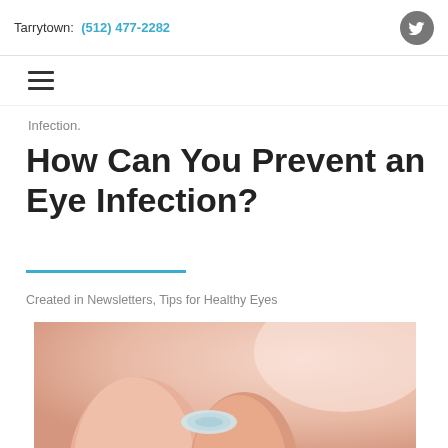Tarrytown: (512) 477-2282
Infection.
How Can You Prevent an Eye Infection?
Created in Newsletters, Tips for Healthy Eyes
[Figure (photo): Close-up photo of fingers handling a contact lens, with a soft peach/neutral background]